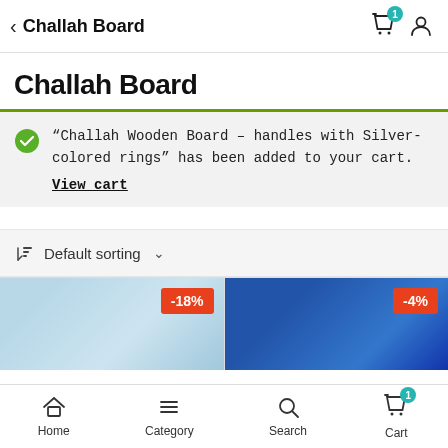< Challah Board
Challah Board
"Challah Wooden Board – handles with Silver-colored rings" has been added to your cart. View cart
Default sorting
[Figure (screenshot): Product card with -18% discount badge and light blue patterned product image]
[Figure (screenshot): Product card with -4% discount badge and blue product image]
Home  Category  Search  Cart